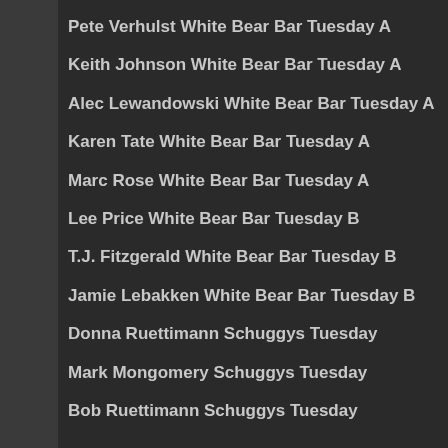Pete Verhulst White Bear Bar Tuesday A
Keith Johnson White Bear Bar Tuesday A
Alec Lewandowski White Bear Bar Tuesday A
Karen Tate White Bear Bar Tuesday A
Marc Rose White Bear Bar Tuesday A
Lee Price White Bear Bar Tuesday B
T.J. Fitzgerald White Bear Bar Tuesday B
Jamie Lebakken White Bear Bar Tuesday B
Donna Ruettimann Schuggys Tuesday
Mark Mongomery Schuggys Tuesday
Bob Ruettimann Schuggys Tuesday